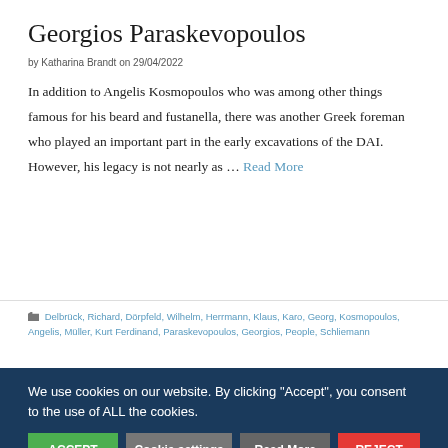Georgios Paraskevopoulos
by Katharina Brandt on 29/04/2022
In addition to Angelis Kosmopoulos who was among other things famous for his beard and fustanella, there was another Greek foreman who played an important part in the early excavations of the DAI. However, his legacy is not nearly as … Read More
Delbrück, Richard, Dörpfeld, Wilhelm, Herrmann, Klaus, Karo, Georg, Kosmopoulos, Angelis, Müller, Kurt Ferdinand, Paraskevopoulos, Georgios, People, Schliemann
We use cookies on our website. By clicking "Accept", you consent to the use of ALL the cookies.